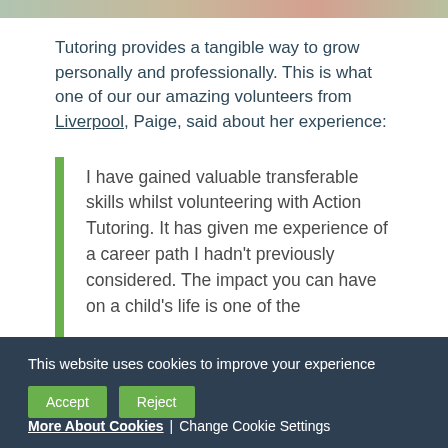[Figure (photo): Partial view of a photo strip at the top of the page, partially cropped.]
Tutoring provides a tangible way to grow personally and professionally. This is what one of our our amazing volunteers from Liverpool, Paige, said about her experience:
I have gained valuable transferable skills whilst volunteering with Action Tutoring. It has given me experience of a career path I hadn't previously considered. The impact you can have on a child's life is one of the...
This website uses cookies to improve your experience
Accept | Reject | More About Cookies | Change Cookie Settings